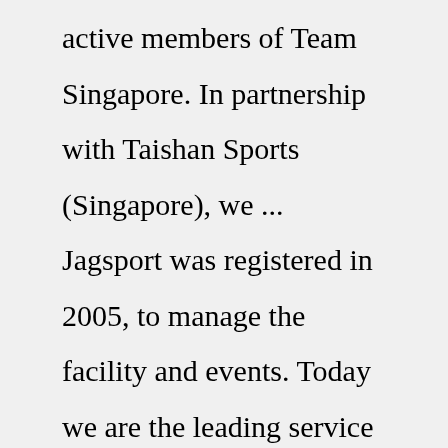active members of Team Singapore. In partnership with Taishan Sports (Singapore), we ... Jagsport was registered in 2005, to manage the facility and events. Today we are the leading service provider of Judo programmes and activities for children and young adults. Our teams compete regularly locally and overseas, with most of our senior instructors active members of Team Singapore. In partnership with Taishan Sports (Singapore) ... With